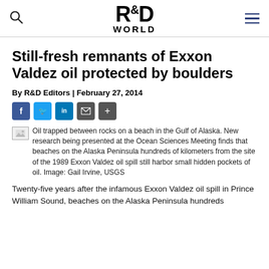R&D WORLD
Still-fresh remnants of Exxon Valdez oil protected by boulders
By R&D Editors | February 27, 2014
[Figure (other): Social sharing icons: Facebook, Twitter, LinkedIn, Email, Share]
Oil trapped between rocks on a beach in the Gulf of Alaska. New research being presented at the Ocean Sciences Meeting finds that beaches on the Alaska Peninsula hundreds of kilometers from the site of the 1989 Exxon Valdez oil spill still harbor small hidden pockets of oil. Image: Gail Irvine, USGS
Twenty-five years after the infamous Exxon Valdez oil spill in Prince William Sound, beaches on the Alaska Peninsula hundreds